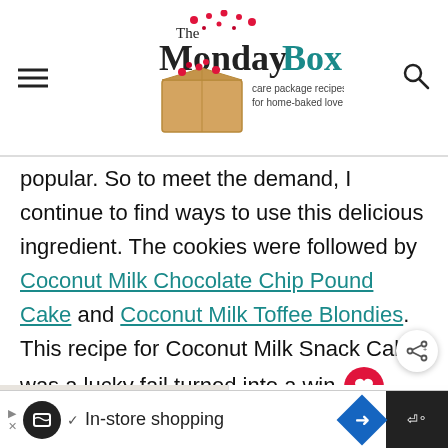The Monday Box — care package recipes for home-baked love
popular. So to meet the demand, I continue to find ways to use this delicious ingredient. The cookies were followed by Coconut Milk Chocolate Chip Pound Cake and Coconut Milk Toffee Blondies. This recipe for Coconut Milk Snack Cake was a lucky fail turned into a win
[Figure (photo): Food photo showing shredded coconut in a bowl and a fork with cake on a light background]
WHAT'S NEXT → Coconut Milk Cookies
In-store shopping (advertisement bar)